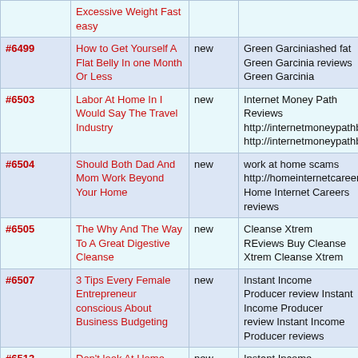| # | Title | Status | Description |
| --- | --- | --- | --- |
|  | Excessive Weight Fast easy |  |  |
| #6499 | How to Get Yourself A Flat Belly In one Month Or Less | new | Green Garciniashed fat Green Garcinia reviews Green Garcinia |
| #6503 | Labor At Home In I Would Say The Travel Industry | new | Internet Money Path Reviews http://internetmoneypathblog.org/ http://internetmoneypathblog.org/ |
| #6504 | Should Both Dad And Mom Work Beyond Your Home | new | work at home scams http://homeinternetcareersnow.net/ Home Internet Careers reviews |
| #6505 | The Why And The Way To A Great Digestive Cleanse | new | Cleanse Xtrem REviews Buy Cleanse Xtrem Cleanse Xtrem |
| #6507 | 3 Tips Every Female Entrepreneur conscious About Business Budgeting | new | Instant Income Producer review Instant Income Producer review Instant Income Producer reviews |
| #6513 | Don't look At Home after You Can World Travel And Work | new | Instant Income Producer online Instant Income Producer reviews Instant Income Producer work from home |